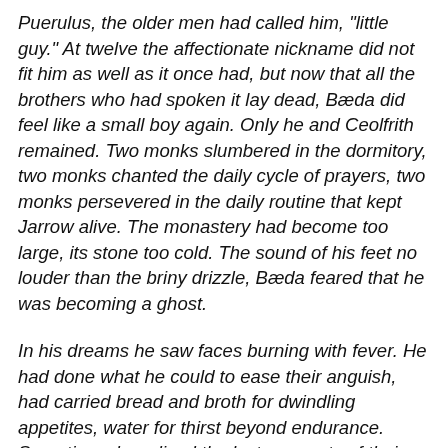Puerulus, the older men had called him, "little guy." At twelve the affectionate nickname did not fit him as well as it once had, but now that all the brothers who had spoken it lay dead, Bæda did feel like a small boy again. Only he and Ceolfrith remained. Two monks slumbered in the dormitory, two monks chanted the daily cycle of prayers, two monks persevered in the daily routine that kept Jarrow alive. The monastery had become too large, its stone too cold. The sound of his feet no louder than the briny drizzle, Bæda feared that he was becoming a ghost.
In his dreams he saw faces burning with fever. He had done what he could to ease their anguish, had carried bread and broth for dwindling appetites, water for thirst beyond endurance. Sometimes he relived the last moments of their lives, when shaking calmed, eyes stilled, warmth emptied. Washing corpses with cold water, he saw the patterns that blood forms under dead skin, cloudy stains that pool,